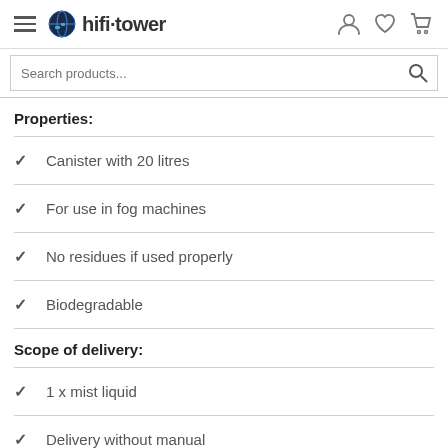hifi·tower
Properties:
Canister with 20 litres
For use in fog machines
No residues if used properly
Biodegradable
Scope of delivery:
1 x mist liquid
Delivery without manual